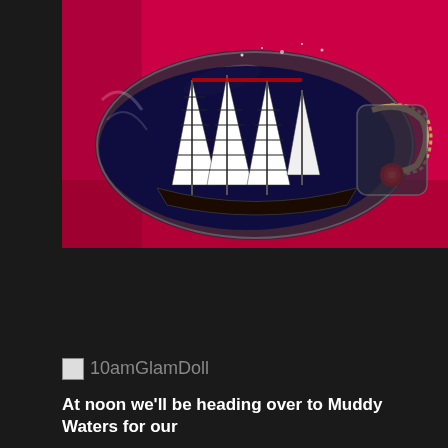[Figure (photo): A ship in a glass bottle placed against a bright pink/red background. The bottle contains a detailed miniature sailing ship with white and black striped sails, viewed from the side. The bottle neck has rope wrapped around it with a red decorative element.]
[Figure (photo): Broken/unloaded image placeholder with label '10amGlamDoll']
10amGlamDoll
At noon we'll be heading over to Muddy Waters for our